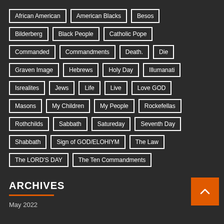African American
American Blacks
Besos
Bilderberg
Black People
Catholic Pope
Commanded
Commandments
Death.
Die
Graven Image
Hebrews
Holy Day
Illumanati
Isrealites
Jews
Life
Live
Love GOD
Masons
My Children
My People
Rockefellas
Rothchilds
Sabbath
Satureday
Seventh Day
Shabbath
Sign of GOD/ELOHIYM
The Law
The LORD'S DAY
The Ten Commandments
ARCHIVES
May 2022